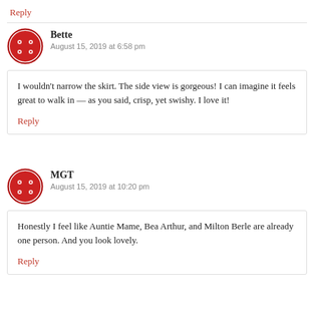Reply
Bette
August 15, 2019 at 6:58 pm
I wouldn't narrow the skirt. The side view is gorgeous! I can imagine it feels great to walk in — as you said, crisp, yet swishy. I love it!
Reply
MGT
August 15, 2019 at 10:20 pm
Honestly I feel like Auntie Mame, Bea Arthur, and Milton Berle are already one person. And you look lovely.
Reply